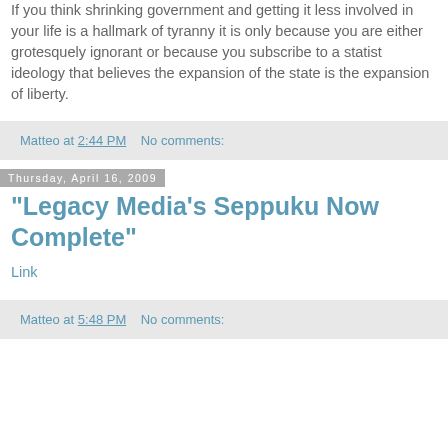If you think shrinking government and getting it less involved in your life is a hallmark of tyranny it is only because you are either grotesquely ignorant or because you subscribe to a statist ideology that believes the expansion of the state is the expansion of liberty.
Matteo at 2:44 PM   No comments:
Thursday, April 16, 2009
"Legacy Media’s Seppuku Now Complete"
Link
Matteo at 5:48 PM   No comments: